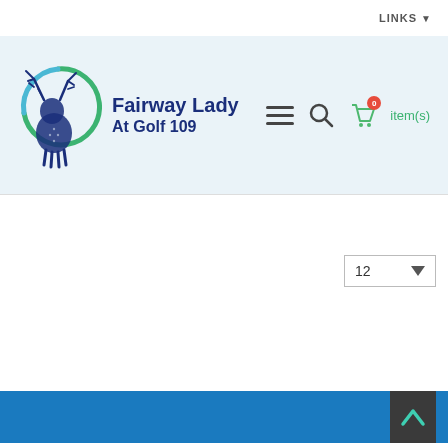LINKS ▼
[Figure (logo): Fairway Lady At Golf 109 logo with deer/stag head and circular green/blue arc, alongside bold navy text reading 'Fairway Lady At Golf 109']
0 item(s)
12 ▼
[Figure (other): Back to top chevron button in dark grey with teal upward arrow, overlapping blue footer bar]